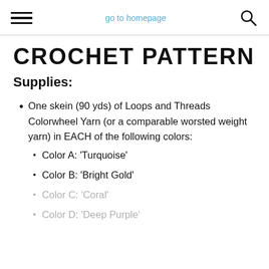go to homepage
CROCHET PATTERN
Supplies:
One skein (90 yds) of Loops and Threads Colorwheel Yarn (or a comparable worsted weight yarn) in EACH of the following colors:
Color A: 'Turquoise'
Color B: 'Bright Gold'
Color C: 'Coral'
Color D: 'Deep Purple'